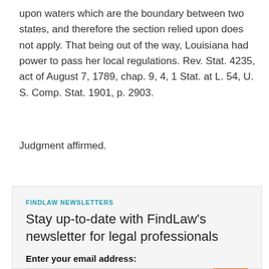upon waters which are the boundary between two states, and therefore the section relied upon does not apply. That being out of the way, Louisiana had power to pass her local regulations. Rev. Stat. 4235, act of August 7, 1789, chap. 9, 4, 1 Stat. at L. 54, U. S. Comp. Stat. 1901, p. 2903.
Judgment affirmed.
FINDLAW NEWSLETTERS
Stay up-to-date with FindLaw's newsletter for legal professionals
Enter your email address:
[Figure (other): Email input field with orange submit button and decorative FindLaw chevron/arrow graphic in orange]